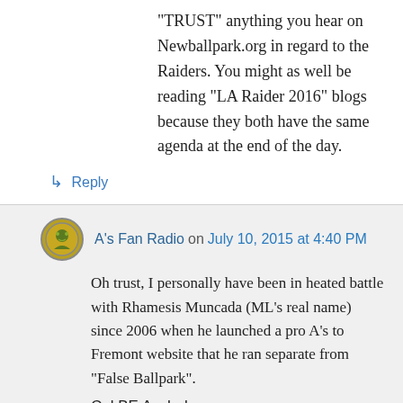“TRUST” anything you hear on Newballpark.org in regard to the Raiders. You might as well be reading “LA Raider 2016” blogs because they both have the same agenda at the end of the day.
↳ Reply
A’s Fan Radio on July 10, 2015 at 4:40 PM
Oh trust, I personally have been in heated battle with Rhamesis Muncada (ML’s real name) since 2006 when he launched a pro A’s to Fremont website that he ran separate from “False Ballpark”.
Cpl BE Asshole